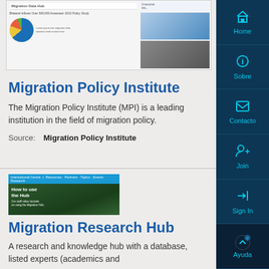[Figure (screenshot): Screenshot thumbnail of Migration Data Hub website showing a pie chart and two small photos]
Migration Policy Institute
The Migration Policy Institute (MPI) is a leading institution in the field of migration policy.
Source:    Migration Policy Institute
[Figure (screenshot): Screenshot of Migration Research Hub website with 'How to use the Hub' text over a forest background image]
Migration Research Hub
A research and knowledge hub with a database, listed experts (academics and